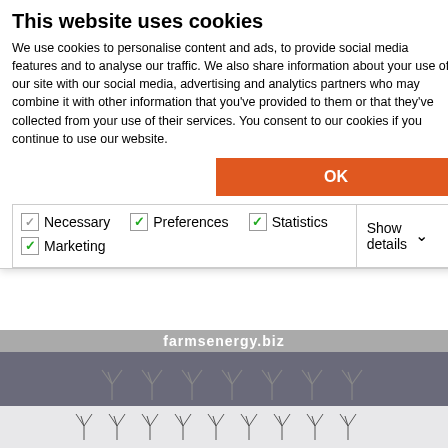This website uses cookies
We use cookies to personalise content and ads, to provide social media features and to analyse our traffic. We also share information about your use of our site with our social media, advertising and analytics partners who may combine it with other information that you've provided to them or that they've collected from your use of their services. You consent to our cookies if you continue to use our website.
OK
Necessary  Preferences  Statistics  Marketing  Show details
[Figure (logo): Wind turbine icons row (dark background strip) with partial URL farmsenergy.biz]
[Figure (logo): offshoreWIND.biz logo with wind turbine icons above it on light grey background]
[Figure (logo): Subsea World News logo with triangle icon and spaced text]